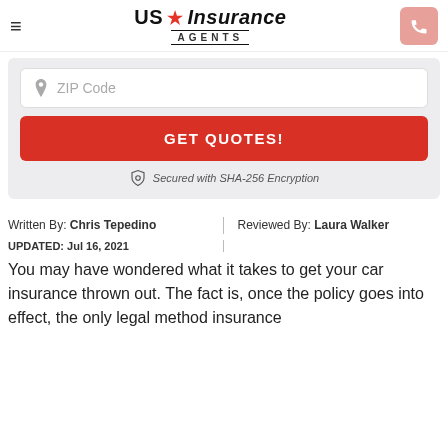US Insurance AGENTS
ZIP Code
GET QUOTES!
Secured with SHA-256 Encryption
Written By: Chris Tepedino
Reviewed By: Laura Walker
UPDATED: Jul 16, 2021
You may have wondered what it takes to get your car insurance thrown out. The fact is, once the policy goes into effect, the only legal method insurance...